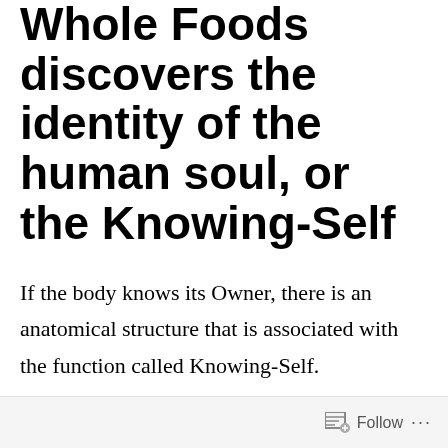Whole Foods discovers the identity of the human soul, or the Knowing-Self
If the body knows its Owner, there is an anatomical structure that is associated with the function called Knowing-Self.
Follow ···